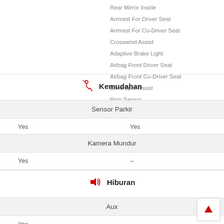Rear Mirror Inside
Armrest For Driver Seat
Armrest For Co-Driver Seat
Crosswind Assist
Adaptive Brake Light
Airbag Front Driver Seat
Airbag Front Co-Driver Seat
Blind Spot Assist
Rain Sensor
Kemudahan
| Sensor Parkir |  |  |
| --- | --- | --- |
| Yes |  | Yes |
| Kamera Mundur |  |  |
| --- | --- | --- |
| Yes |  | – |
Hiburan
| Aux |  |  |
| --- | --- | --- |
| Yes |  | – |